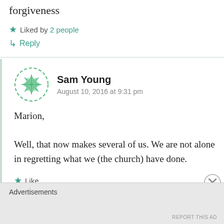forgiveness
★ Liked by 2 people
↳ Reply
Sam Young
August 10, 2016 at 9:31 pm
Marion,

Well, that now makes several of us. We are not alone in regretting what we (the church) have done.
★ Like
Advertisements
REPORT THIS AD